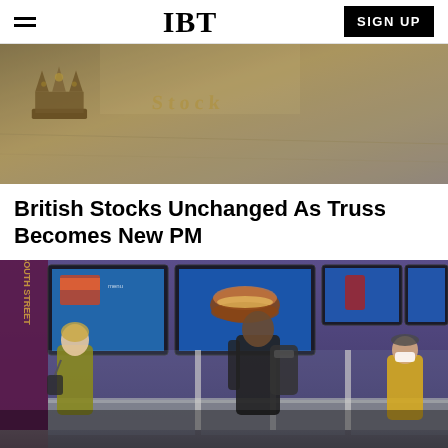IBT | SIGN UP
[Figure (photo): Close-up photograph of a golden crown ornament and embossed 'Stocks' text on a stone surface, representing stock market / London Stock Exchange imagery.]
British Stocks Unchanged As Truss Becomes New PM
[Figure (photo): Interior of a McDonald's restaurant showing customers ordering at the counter, digital menu boards displaying food items, with a masked worker behind the counter.]